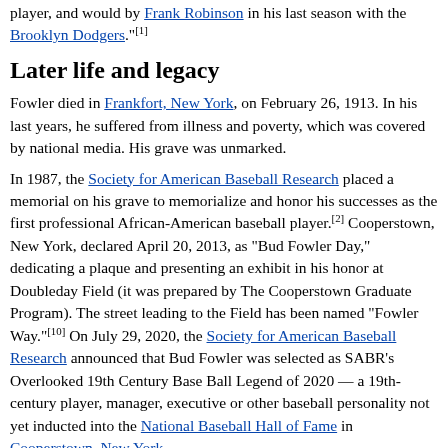player, and would by Frank Robinson in his last season with the Brooklyn Dodgers."[1]
Later life and legacy
Fowler died in Frankfort, New York, on February 26, 1913. In his last years, he suffered from illness and poverty, which was covered by national media. His grave was unmarked.
In 1987, the Society for American Baseball Research placed a memorial on his grave to memorialize and honor his successes as the first professional African-American baseball player.[2] Cooperstown, New York, declared April 20, 2013, as "Bud Fowler Day," dedicating a plaque and presenting an exhibit in his honor at Doubleday Field (it was prepared by The Cooperstown Graduate Program). The street leading to the Field has been named "Fowler Way."[10] On July 29, 2020, the Society for American Baseball Research announced that Bud Fowler was selected as SABR's Overlooked 19th Century Base Ball Legend of 2020 — a 19th-century player, manager, executive or other baseball personality not yet inducted into the National Baseball Hall of Fame in Cooperstown, New York.
On November 5, 2021, he was selected to the final ten for the Early Days Committee for consideration in the Class of 2022 in the